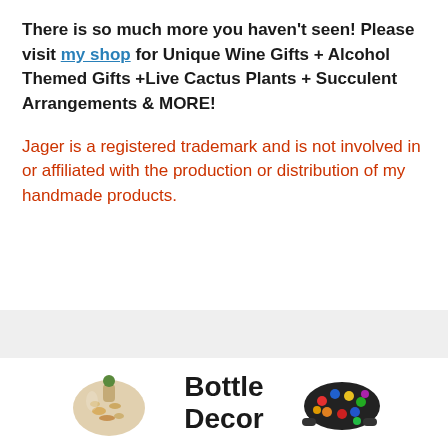There is so much more you haven't seen! Please visit my shop for Unique Wine Gifts + Alcohol Themed Gifts +Live Cactus Plants + Succulent Arrangements & MORE!
Jager is a registered trademark and is not involved in or affiliated with the production or distribution of my handmade products.
[Figure (illustration): Two decorative bottle images flanking a bold 'Bottle Decor' text label. Left bottle appears to contain dried flowers/shells; right bottle is dark with colorful candies/decorations.]